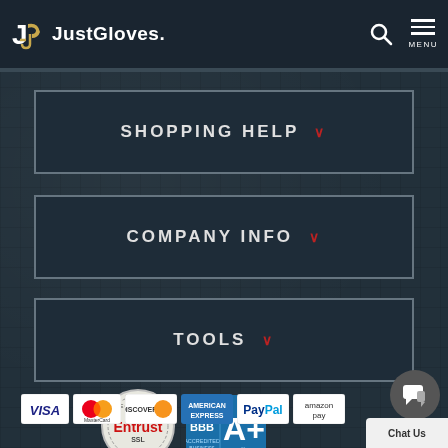JustGloves.
SHOPPING HELP
COMPANY INFO
TOOLS
[Figure (logo): Entrust SSL Secured badge and BBB A+ rating badge]
[Figure (infographic): Payment method logos: VISA, MasterCard, DISCOVER, AMERICAN EXPRESS, PayPal, amazon pay]
[Figure (infographic): Chat Us button with chat bubble icon]